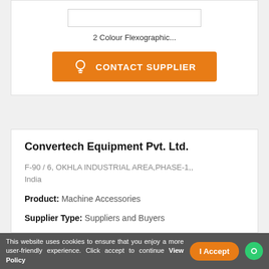2 Colour Flexographic...
[Figure (other): Contact Supplier button with orange background and lightbulb icon]
Convertech Equipment Pvt. Ltd.
F-90 / 6, OKHLA INDUSTRIAL AREA,PHASE-1,, India
Product: Machine Accessories
Supplier Type: Suppliers and Buyers
Major Markets: Domestic Market
This website uses cookies to ensure that you enjoy a more user-friendly experience. Click accept to continue View Policy